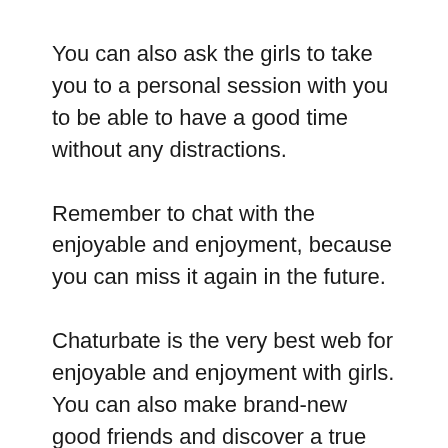You can also ask the girls to take you to a personal session with you to be able to have a good time without any distractions.
Remember to chat with the enjoyable and enjoyment, because you can miss it again in the future.
Chaturbate is the very best web for enjoyable and enjoyment with girls. You can also make brand-new good friends and discover a true one.